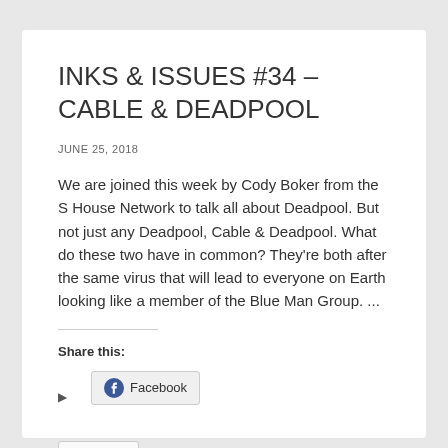INKS & ISSUES #34 – CABLE & DEADPOOL
JUNE 25, 2018
We are joined this week by Cody Boker from the S House Network to talk all about Deadpool. But not just any Deadpool, Cable & Deadpool. What do these two have in common? They're both after the same virus that will lead to everyone on Earth looking like a member of the Blue Man Group. ...
Share this:
Facebook
Print